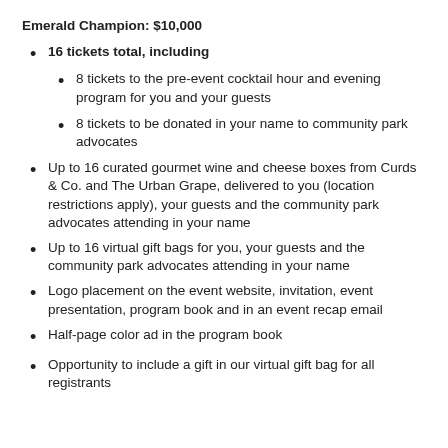Emerald Champion: $10,000
16 tickets total, including
8 tickets to the pre-event cocktail hour and evening program for you and your guests
8 tickets to be donated in your name to community park advocates
Up to 16 curated gourmet wine and cheese boxes from Curds & Co. and The Urban Grape, delivered to you (location restrictions apply), your guests and the community park advocates attending in your name
Up to 16 virtual gift bags for you, your guests and the community park advocates attending in your name
Logo placement on the event website, invitation, event presentation, program book and in an event recap email
Half-page color ad in the program book
Opportunity to include a gift in our virtual gift bag for all registrants